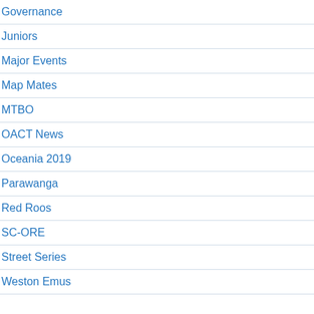Governance
Juniors
Major Events
Map Mates
MTBO
OACT News
Oceania 2019
Parawanga
Red Roos
SC-ORE
Street Series
Weston Emus